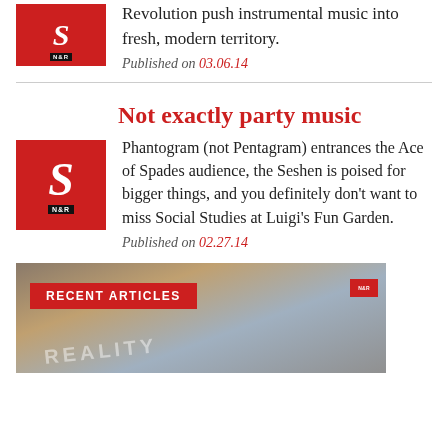Revolution push instrumental music into fresh, modern territory.
Published on 03.06.14
Not exactly party music
Phantogram (not Pentagram) entrances the Ace of Spades audience, the Seshen is poised for bigger things, and you definitely don't want to miss Social Studies at Luigi's Fun Garden.
Published on 02.27.14
[Figure (photo): Photo banner with RECENT ARTICLES label overlay and small N&R logo in top right corner]